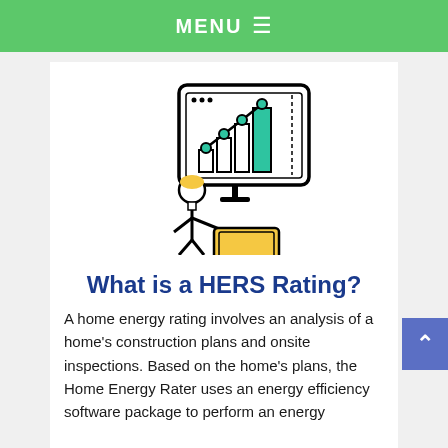MENU ☰
[Figure (illustration): Icon of a person sitting at a laptop computer with a large monitor showing a bar chart with an upward trending line graph. The bars are white/gray and the tallest bar is teal/green. The person has a yellow/blonde hair color.]
What is a HERS Rating?
A home energy rating involves an analysis of a home's construction plans and onsite inspections. Based on the home's plans, the Home Energy Rater uses an energy efficiency software package to perform an energy